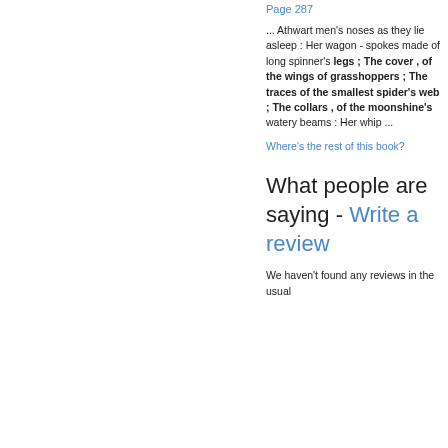Page 287
... Athwart men's noses as they lie asleep : Her wagon - spokes made of long spinner's legs ; The cover , of the wings of grasshoppers ; The traces of the smallest spider's web ; The collars , of the moonshine's watery beams : Her whip ...
Where's the rest of this book?
What people are saying - Write a review
We haven't found any reviews in the usual